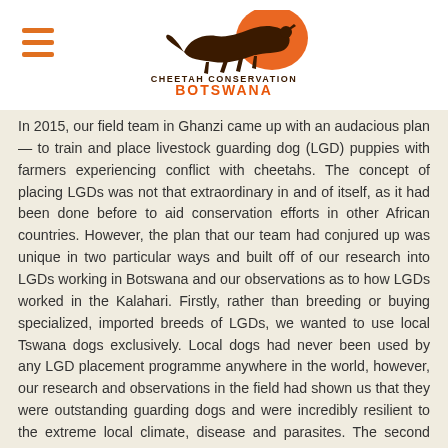Cheetah Conservation Botswana logo and navigation
In 2015, our field team in Ghanzi came up with an audacious plan — to train and place livestock guarding dog (LGD) puppies with farmers experiencing conflict with cheetahs. The concept of placing LGDs was not that extraordinary in and of itself, as it had been done before to aid conservation efforts in other African countries. However, the plan that our team had conjured up was unique in two particular ways and built off of our research into LGDs working in Botswana and our observations as to how LGDs worked in the Kalahari. Firstly, rather than breeding or buying specialized, imported breeds of LGDs, we wanted to use local Tswana dogs exclusively. Local dogs had never been used by any LGD placement programme anywhere in the world, however, our research and observations in the field had shown us that they were outstanding guarding dogs and were incredibly resilient to the extreme local climate, disease and parasites. The second unique aspect about this placement programme was that we planned on placing puppies at a later age than other programmes. Placement programmes in South Africa and Namibia would place puppies at 6-8 weeks of age, so that they